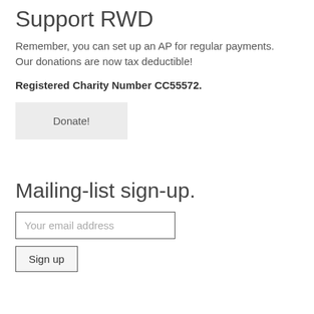Support RWD
Remember, you can set up an AP for regular payments. Our donations are now tax deductible!
Registered Charity Number CC55572.
[Figure (other): Donate! button — a clickable button with light grey background and the label 'Donate!']
Mailing-list sign-up.
[Figure (other): Email input field with placeholder 'Your email address' and a 'Sign up' button below it]